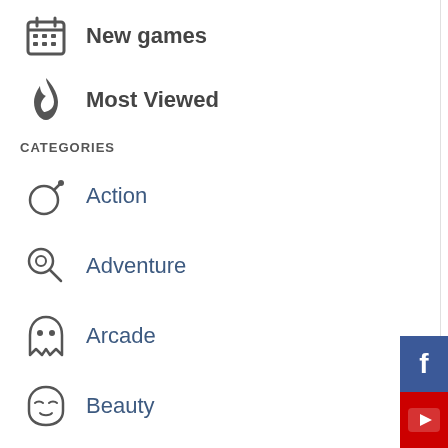New games
Most Viewed
CATEGORIES
Action
Adventure
Arcade
Beauty